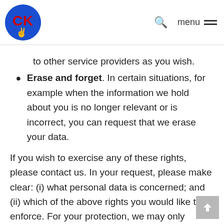CK logo, search icon, menu
to other service providers as you wish.
Erase and forget. In certain situations, for example when the information we hold about you is no longer relevant or is incorrect, you can request that we erase your data.
If you wish to exercise any of these rights, please contact us. In your request, please make clear: (i) what personal data is concerned; and (ii) which of the above rights you would like to enforce. For your protection, we may only implement requests with respect to the personal data associated with the particular